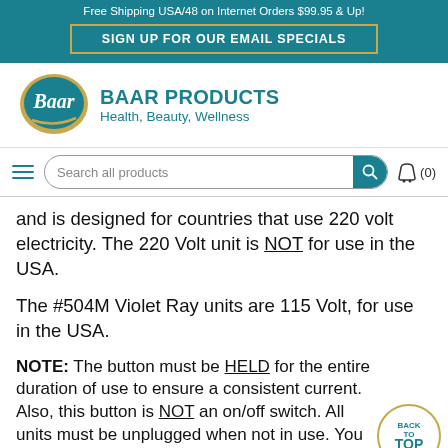Free Shipping USA/48 on Internet Orders $99.95 & Up!
SIGN UP FOR OUR EMAIL SPECIALS
[Figure (logo): Baar Products logo — oval with 'Baar' text]
BAAR PRODUCTS
Health, Beauty, Wellness
[Figure (screenshot): Search bar with hamburger menu and cart icon]
and is designed for countries that use 220 volt electricity. The 220 Volt unit is NOT for use in the USA.
The #504M Violet Ray units are 115 Volt, for use in the USA.
NOTE: The button must be HELD for the entire duration of use to ensure a consistent current. Also, this button is NOT an on/off switch. All units must be unplugged when not in use. You can